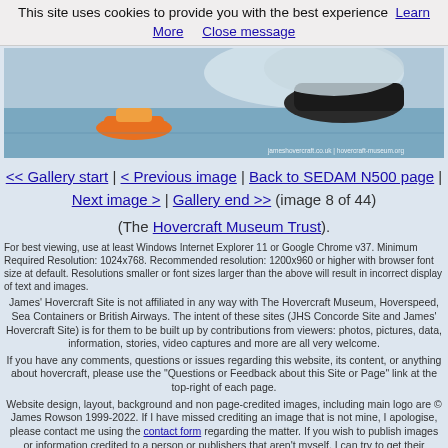This site uses cookies to provide you with the best experience   Learn More      Close message
[Figure (photo): Banner image showing hovercraft racing on water with spray, and a smaller orange hovercraft. Text overlay: jameshovercraft.co.uk | hovercraft-museum.org]
<< Gallery start  |  < Previous image  |  Back to SEDAM N500 page  |  Next image >  |  Gallery end >>  (image 8 of 44)
(The Hovercraft Museum Trust).
For best viewing, use at least Windows Internet Explorer 11 or Google Chrome v37. Minimum Required Resolution: 1024x768. Recommended resolution: 1200x960 or higher with browser font size at default. Resolutions smaller or font sizes larger than the above will result in incorrect display of text and images.
James' Hovercraft Site is not affiliated in any way with The Hovercraft Museum, Hoverspeed, Sea Containers or British Airways. The intent of these sites (JHS Concorde Site and James' Hovercraft Site) is for them to be built up by contributions from viewers: photos, pictures, data, information, stories, video captures and more are all very welcome.
If you have any comments, questions or issues regarding this website, its content, or anything about hovercraft, please use the "Questions or Feedback about this Site or Page" link at the top-right of each page.
Website design, layout, background and non page-credited images, including main logo are © James Rowson 1999-2022. If I have missed crediting an image that is not mine, I apologise, please contact me using the contact form regarding the matter. If you wish to publish images or information credited to a person or publishers that aren't myself, I can try to get their contact details for you, otherwise I can't personally grant you permission to use such data.
James' Hovercraft Site is not responsible for the content of externally linked pages and websites.
Sitemap [xml]